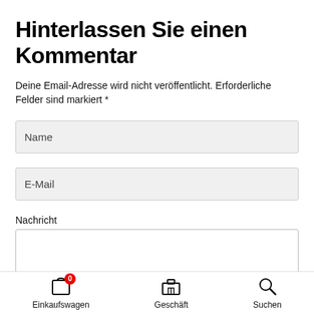Hinterlassen Sie einen Kommentar
Deine Email-Adresse wird nicht veröffentlicht. Erforderliche Felder sind markiert *
Name
E-Mail
Nachricht
Einkaufswagen  Geschäft  Suchen